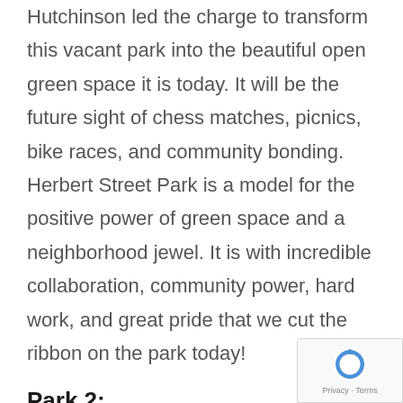Hutchinson led the charge to transform this vacant park into the beautiful open green space it is today. It will be the future sight of chess matches, picnics, bike races, and community bonding. Herbert Street Park is a model for the positive power of green space and a neighborhood jewel. It is with incredible collaboration, community power, hard work, and great pride that we cut the ribbon on the park today!
Park 2:
Saratoga Gateway Park, also known as Kirby Lane Park, was the second phase of a rehabilitated a that, with our partners, we were able to clear 1